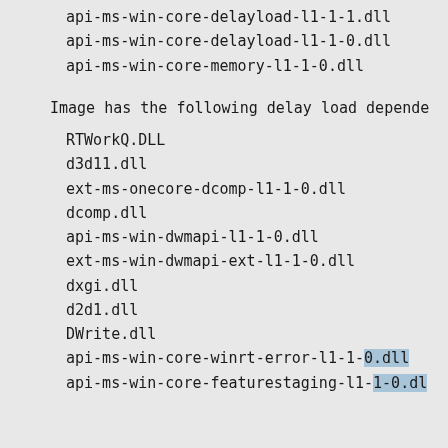api-ms-win-core-delayload-l1-1-1.dll
api-ms-win-core-delayload-l1-1-0.dll
api-ms-win-core-memory-l1-1-0.dll
Image has the following delay load depende
RTWorkQ.DLL
d3d11.dll
ext-ms-onecore-dcomp-l1-1-0.dll
dcomp.dll
api-ms-win-dwmapi-l1-1-0.dll
ext-ms-win-dwmapi-ext-l1-1-0.dll
dxgi.dll
d2d1.dll
DWrite.dll
api-ms-win-core-winrt-error-l1-1-0.dll
api-ms-win-core-featurestaging-l1-1-0.dl